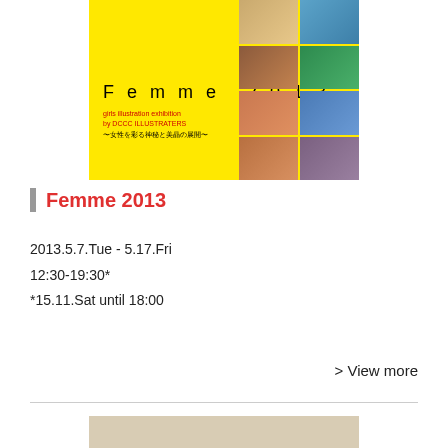[Figure (illustration): Femme 2013 exhibition poster with bright yellow background, collage of photos of women on the right side, title 'Femme 2013' in spaced letters, subtitle text in red and black]
Femme 2013
2013.5.7.Tue - 5.17.Fri
12:30-19:30*
*15.11.Sat until 18:00
> View more
[Figure (photo): Bottom image with beige/tan background, partially visible]